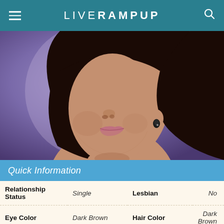LIVE RAMPUP
[Figure (photo): Close-up photo of a woman with dark hair, looking upward with a slight expression, wearing dark earrings and a light-colored top, against a purple/lavender background.]
Quick Information
| Relationship Status | Single | Lesbian | No |
| Eye Color | Dark Brown | Hair Color | Dark Brown |
| Hair | Long | Height/ How Tall? | 5' 4" (1.63 m) |